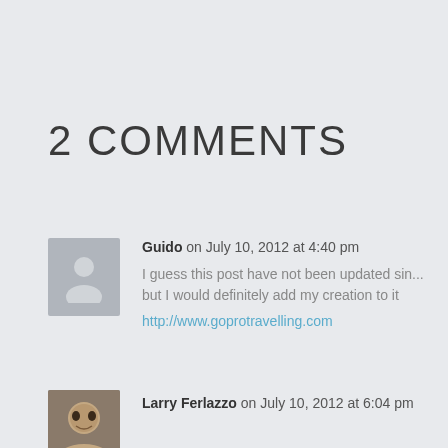2 COMMENTS
Guido on July 10, 2012 at 4:40 pm
I guess this post have not been updated sin... but I would definitely add my creation to it
http://www.goprotravelling.com
Larry Ferlazzo on July 10, 2012 at 6:04 pm